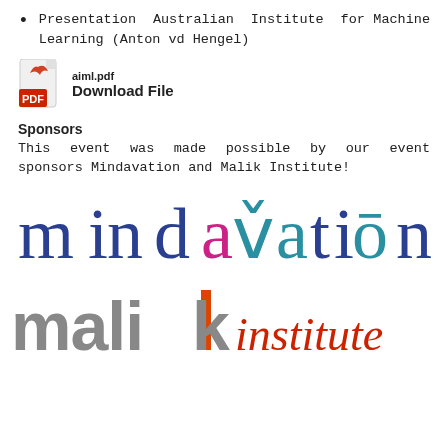Presentation Australian Institute for Machine Learning (Anton vd Hengel)
[Figure (other): PDF file icon with filename aiml.pdf and Download File link]
Sponsors
This event was made possible by our event sponsors Mindavation and Malik Institute!
[Figure (logo): Mindavation logo in blue, teal, and pink colors]
[Figure (logo): Malik Institute logo in gray with orange accent and red italic text]